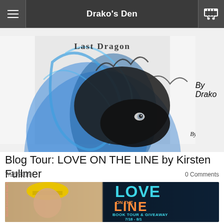Drako's Den
[Figure (illustration): Partial view of a dragon illustration book cover titled 'Last Dragon' by Drako, showing a dark dragon with blue swirling designs and the text 'By Drako' at the bottom right]
Blog Tour: LOVE ON THE LINE by Kirsten Fullmer
7/26/2019    0 Comments
[Figure (photo): Silver Dagger Book Tours banner for 'Love on the Line' by Kirsten Fullmer featuring a woman wearing a yellow hard hat on the left, and large text reading LOVE ON THE LINE BOOK TOUR & GIVEAWAY 7/18 - 8/1 on the right]